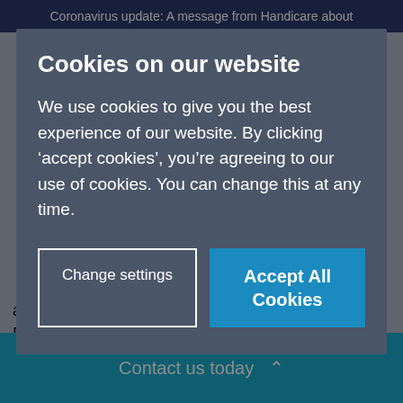Coronavirus update: A message from Handicare about
Cookies on our website
We use cookies to give you the best experience of our website. By clicking ‘accept cookies’, you’re agreeing to our use of cookies. You can change this at any time.
Change settings
Accept All Cookies
autumn evening. This recipe was suggested by Romy, a blogger and lover of recipes at Romy London UK. She
Contact us today